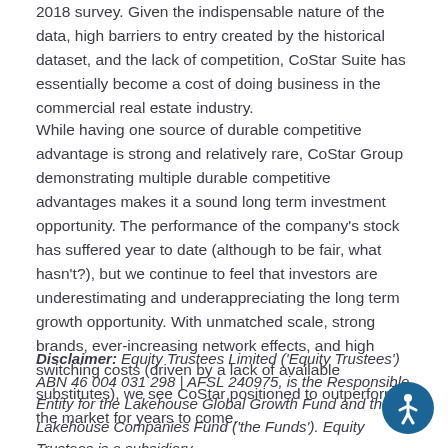2018 survey. Given the indispensable nature of the data, high barriers to entry created by the historical dataset, and the lack of competition, CoStar Suite has essentially become a cost of doing business in the commercial real estate industry.
While having one source of durable competitive advantage is strong and relatively rare, CoStar Group demonstrating multiple durable competitive advantages makes it a sound long term investment opportunity. The performance of the company's stock has suffered year to date (although to be fair, what hasn't?), but we continue to feel that investors are underestimating and underappreciating the long term growth opportunity. With unmatched scale, strong brands, ever-increasing network effects, and high switching costs (driven by a lack of available substitutes), we see CoStar positioned to outperform the market for years to come.
Disclaimer: Equity Trustees Limited ('Equity Trustees') ABN 46 004 031 298 | AFSL 240975, is the Responsible Entity for the Lakehouse Global Growth Fund and the Lakehouse Companies Fund ('the Funds'). Equity Trustees is a subsidiary